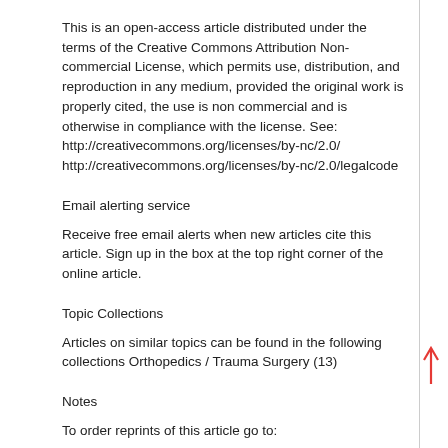This is an open-access article distributed under the terms of the Creative Commons Attribution Non-commercial License, which permits use, distribution, and reproduction in any medium, provided the original work is properly cited, the use is non commercial and is otherwise in compliance with the license. See:
http://creativecommons.org/licenses/by-nc/2.0/
http://creativecommons.org/licenses/by-nc/2.0/legalcode
Email alerting service
Receive free email alerts when new articles cite this article. Sign up in the box at the top right corner of the online article.
Topic Collections
Articles on similar topics can be found in the following collections Orthopedics / Trauma Surgery (13)
Notes
To order reprints of...